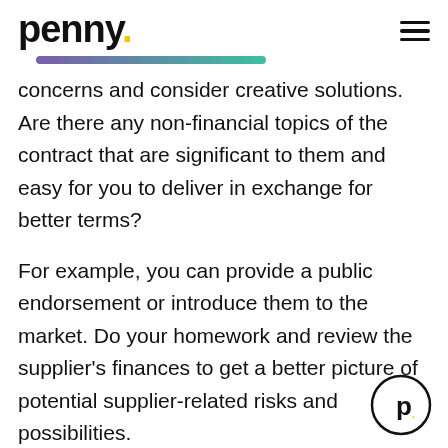penny.
concerns and consider creative solutions. Are there any non-financial topics of the contract that are significant to them and easy for you to deliver in exchange for better terms?
For example, you can provide a public endorsement or introduce them to the market. Do your homework and review the supplier's finances to get a better picture of potential supplier-related risks and possibilities.
[Figure (logo): Penny logo circle with stylized 'p.' inside]